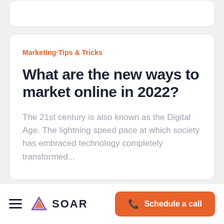Marketing·Tips & Tricks
What are the new ways to market online in 2022?
The 21st century is also known as the Digital Age. The lightning speed pace at which society has embraced technology completely transformed...
SOAR — Schedule a call